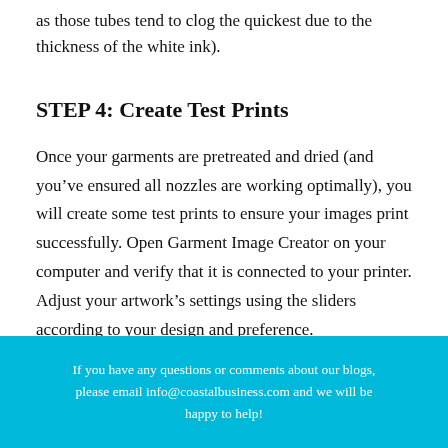as those tubes tend to clog the quickest due to the thickness of the white ink).
STEP 4: Create Test Prints
Once your garments are pretreated and dried (and you’ve ensured all nozzles are working optimally), you will create some test prints to ensure your images print successfully. Open Garment Image Creator on your computer and verify that it is connected to your printer. Adjust your artwork’s settings using the sliders according to your design and preference.
If you have any questions or comments about our blogs, please email info@coastalbusiness.com and we will be happy to help!